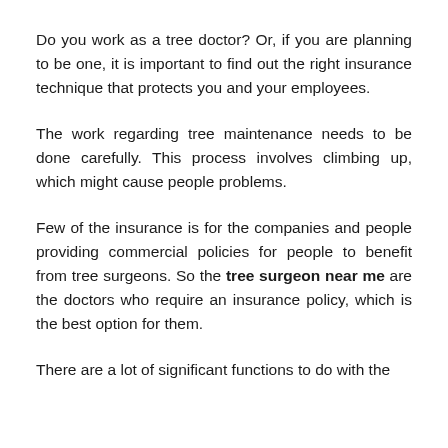Do you work as a tree doctor? Or, if you are planning to be one, it is important to find out the right insurance technique that protects you and your employees.
The work regarding tree maintenance needs to be done carefully. This process involves climbing up, which might cause people problems.
Few of the insurance is for the companies and people providing commercial policies for people to benefit from tree surgeons. So the tree surgeon near me are the doctors who require an insurance policy, which is the best option for them.
There are a lot of significant functions to do with the